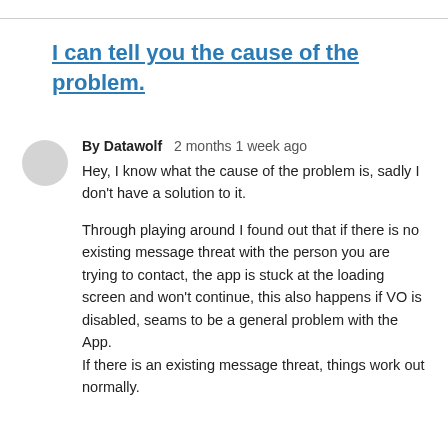I can tell you the cause of the problem.
By Datawolf   2 months 1 week ago
Hey, I know what the cause of the problem is, sadly I don't have a solution to it.

Through playing around I found out that if there is no existing message threat with the person you are trying to contact, the app is stuck at the loading screen and won't continue, this also happens if VO is disabled, seams to be a general problem with the App.
If there is an existing message threat, things work out normally.